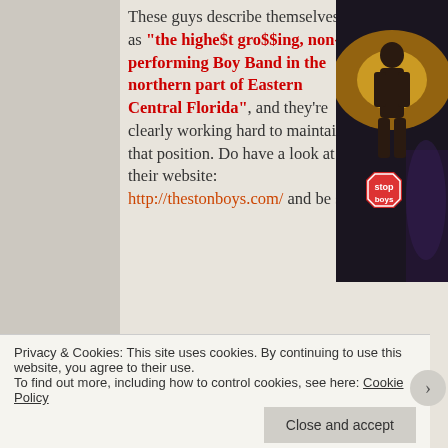[Figure (photo): Photo of a performer on stage with dramatic lighting, partially cropped, and a red stop sign visible with text 'stop boys']
These guys describe themselves as "the highe$t gro$$ing, non-performing Boy Band in the northern part of Eastern Central Florida", and they're clearly working hard to maintain that position. Do have a look at their website: http://thestonboys.com/ and be su...
Privacy & Cookies: This site uses cookies. By continuing to use this website, you agree to their use.
To find out more, including how to control cookies, see here: Cookie Policy
Close and accept